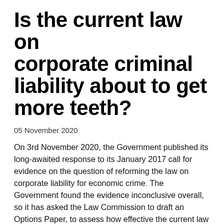Is the current law on corporate criminal liability about to get more teeth?
05 November 2020
On 3rd November 2020, the Government published its long-awaited response to its January 2017 call for evidence on the question of reforming the law on corporate liability for economic crime. The Government found the evidence inconclusive overall, so it has asked the Law Commission to draft an Options Paper, to assess how effective the current law is relating to corporate criminal liability and where improvements can be made.
The Government response can be read here